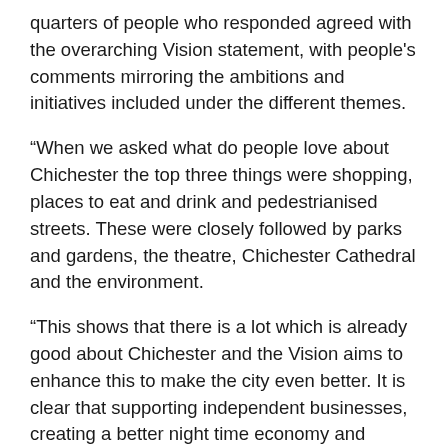quarters of people who responded agreed with the overarching Vision statement, with people's comments mirroring the ambitions and initiatives included under the different themes.
“When we asked what do people love about Chichester the top three things were shopping, places to eat and drink and pedestrianised streets. These were closely followed by parks and gardens, the theatre, Chichester Cathedral and the environment.
“This shows that there is a lot which is already good about Chichester and the Vision aims to enhance this to make the city even better. It is clear that supporting independent businesses, creating a better night time economy and reducing traffic are the things that people would most like to see achieved in their city in the future.